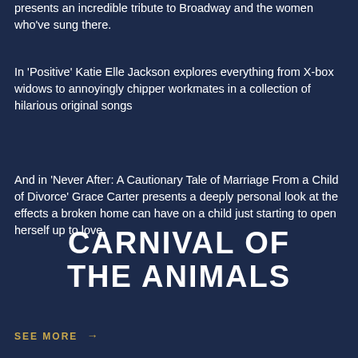presents an incredible tribute to Broadway and the women who've sung there.
In 'Positive' Katie Elle Jackson explores everything from X-box widows to annoyingly chipper workmates in a collection of hilarious original songs
And in 'Never After: A Cautionary Tale of Marriage From a Child of Divorce' Grace Carter presents a deeply personal look at the effects a broken home can have on a child just starting to open herself up to love.
CARNIVAL OF THE ANIMALS
SEE MORE →